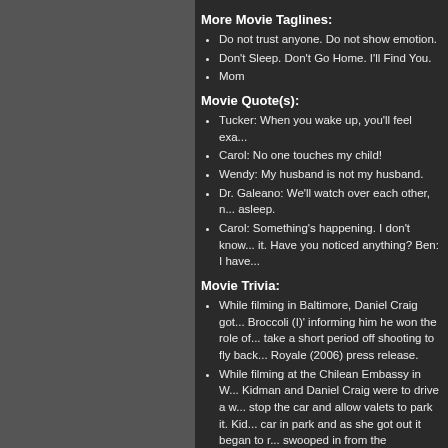More Movie Taglines:
Do not trust anyone. Do not show emotion.
Don't Sleep. Don't Go Home. I'll Find You.
Mom
Movie Quote(s):
Tucker: When you wake up, you'll feel exa...
Carol: No one touches my child!
Wendy: My husband is not my husband.
Dr. Galeano: We'll watch over each other, n... asleep.
Carol: Something's happening. I don't know... it. Have you noticed anything? Ben: I have...
Movie Trivia:
While filming in Baltimore, Daniel Craig got... Broccoli (I)' informing him he won the role... take a short period off shooting to fly back... Royale (2006) press release.
While filming at the Chilean Embassy in W... Kidman and Daniel Craig were to drive a w... stop the car and allow valets to park it. Kid... car in park and as she got out it began to r... swooped in from the passenger side and d... emergency brake and stopping the disaste... happened during heavy rain effects.
Originally wrapped in early 2006, the film u... reshooting in 2007. The reason for this was... liked the cut director Oliver Hirschbiegel de... Andy Wachowski and Lana Wachowski we... and James McTeigue to direct the new sce...